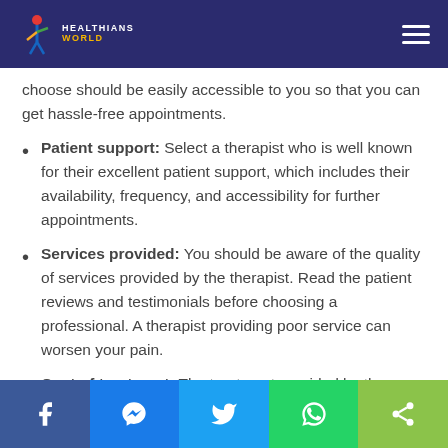Healthians World
choose should be easily accessible to you so that you can get hassle-free appointments.
Patient support: Select a therapist who is well known for their excellent patient support, which includes their availability, frequency, and accessibility for further appointments.
Services provided: You should be aware of the quality of services provided by the therapist. Read the patient reviews and testimonials before choosing a professional. A therapist providing poor service can worsen your pain.
Cost of treatment: The treatment provided by the
Social share bar: Facebook, Messenger, Twitter, WhatsApp, Share